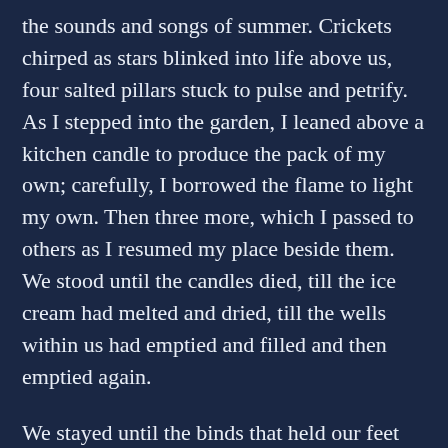the sounds and songs of summer. Crickets chirped as stars blinked into life above us, four salted pillars stuck to pulse and petrify. As I stepped into the garden, I leaned above a kitchen candle to produce the pack of my own; carefully, I borrowed the flame to light my own. Then three more, which I passed to others as I resumed my place beside them. We stood until the candles died, till the ice cream had melted and dried, till the wells within us had emptied and filled and then emptied again.
We stayed until the binds that held our feet had loosened only just enough for Grammy to fetch a blanket from the house to wrap us all in it; as the air cooled and the owls hoo'ed, our hearts grew lighter than our troubles and both were lifted upward, on the folds of some far-off, midnight